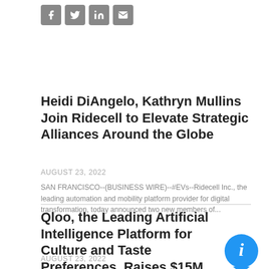[Figure (other): Social media share icons: Facebook, Twitter, LinkedIn, Email]
Heidi DiAngelo, Kathryn Mullins Join Ridecell to Elevate Strategic Alliances Around the Globe
AUGUST 23, 2022
SAN FRANCISCO--(BUSINESS WIRE)--#EVs--Ridecell Inc., the leading automation and mobility platform provider for digital transformation, today announced two new members of...
Qloo, the Leading Artificial Intelligence Platform for Culture and Taste Preferences, Raises $15M in Series B
AUGUST 23, 2022
Funding will support Qloo's mission of decoding and predicting consumer tastes across the globe, while keeping privacy at the